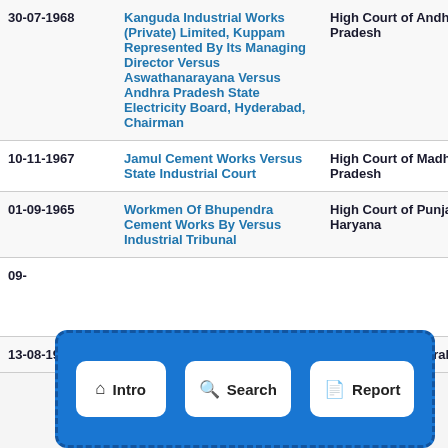| Date | Case | Court |
| --- | --- | --- |
| 30-07-1968 | Kanguda Industrial Works (Private) Limited, Kuppam Represented By Its Managing Director Versus Aswathanarayana Versus Andhra Pradesh State Electricity Board, Hyderabad, Chairman | High Court of Andhra Pradesh |
| 10-11-1967 | Jamul Cement Works Versus State Industrial Court | High Court of Madhya Pradesh |
| 01-09-1965 | Workmen Of Bhupendra Cement Works By Versus Industrial Tribunal | High Court of Punjab and Haryana |
| 09-... | ... | ... |
| 13-08-1964 | Workmen of the Modern ... | High Court of Kerala |
[Figure (screenshot): Navigation overlay with three buttons: Intro (home icon), Search (magnifying glass icon), Report (document icon), displayed on a blue dashed-border rounded rectangle background]